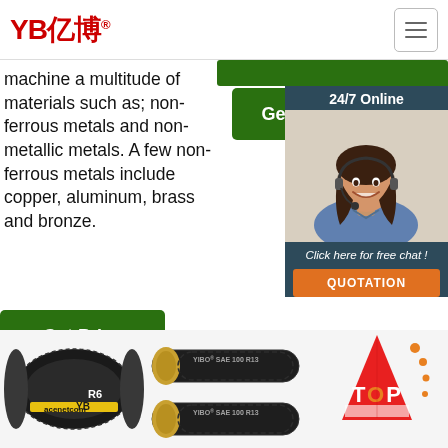YB亿博® [hamburger menu button]
machine a multitude of materials such as; non-ferrous metals and non-metallic metals. A few non-ferrous metals include copper, aluminum, brass and bronze.
[Figure (other): Green 'Get Price' button (center)]
[Figure (other): Green 'Get Price' button (bottom left)]
[Figure (other): Sidebar widget: '24/7 Online' with photo of a woman with headset, 'Click here for free chat!' text, and orange QUOTATION button]
[Figure (photo): Product image: black rubber hose labeled 'YB R6' with yellow stripe]
[Figure (photo): Two black hydraulic hoses labeled YIBO SAE 100 R13]
[Figure (illustration): Red TOP cone/arrow icon pointing upward]